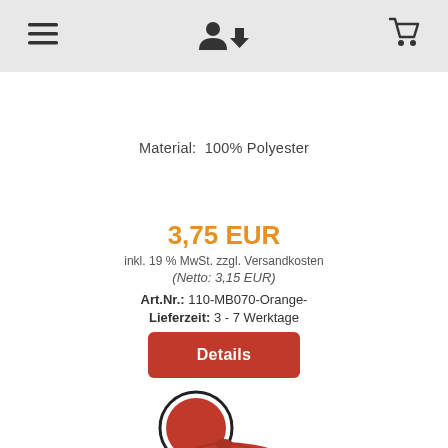≡  👤↓  🛒
Material:  100% Polyester
3,75 EUR
inkl. 19 % MwSt. zzgl. Versandkosten
(Netto: 3,15 EUR)
Art.Nr.: 110-MB070-Orange-
Lieferzeit: 3 - 7 Werktage
Details
[Figure (illustration): Red color swatch circle and red baseball cap product image at bottom of page]